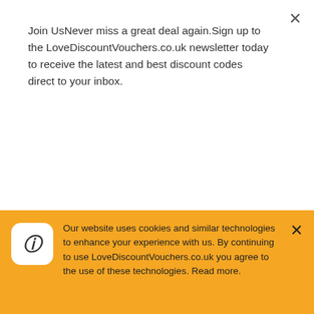Join UsNever miss a great deal again.Sign up to the LoveDiscountVouchers.co.uk newsletter today to receive the latest and best discount codes direct to your inbox.
Subscribe
The Best Lulus Discount Codes, Promo Codes, Voucher Codes, Offers & Deals can only be found here at LoveDiscountVouchers.co.uk
Love Discount Vouchers
Our website uses cookies and similar technologies to enhance your experience with us. By continuing to use LoveDiscountVouchers.co.uk you agree to the use of these technologies. Read more.